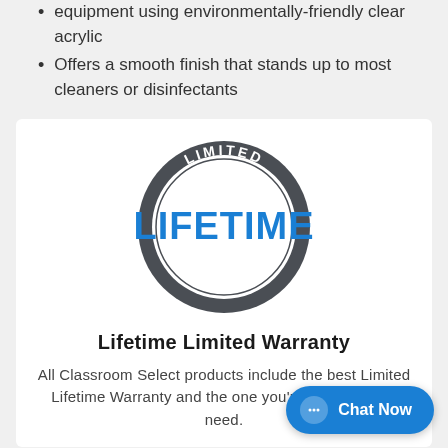equipment using environmentally-friendly clear acrylic
Offers a smooth finish that stands up to most cleaners or disinfectants
[Figure (logo): Circular badge/stamp with 'LIMITED' arched at the top, 'LIFETIME' in large blue bold letters in the center, and 'WARRANTY' arched at the bottom. The ring is dark gray/charcoal colored.]
Lifetime Limited Warranty
All Classroom Select products include the best Limited Lifetime Warranty and the one you're least likely to need.